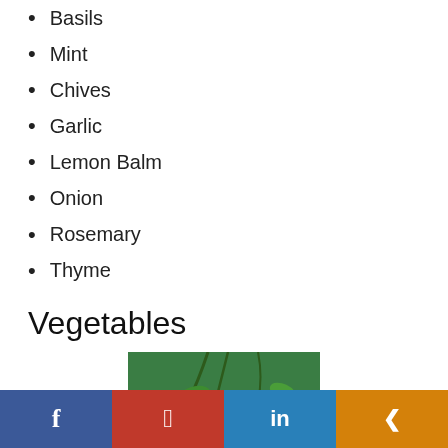Basils
Mint
Chives
Garlic
Lemon Balm
Onion
Rosemary
Thyme
Vegetables
[Figure (photo): Tomatoes growing on vines — red and green cherry tomatoes on green vines]
Tomatoes growing on vines